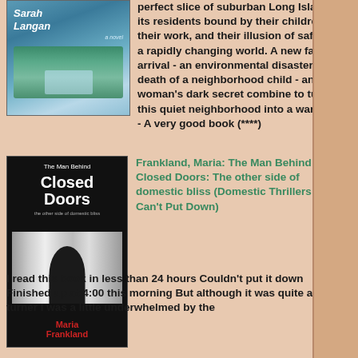[Figure (illustration): Book cover for a novel by Sarah Langan, showing aerial view of a suburban neighborhood]
perfect slice of suburban Long Island, its residents bound by their children, their work, and their illusion of safety in a rapidly changing world. A new family's arrival - an environmental disaster - the death of a neighborhood child - and one woman's dark secret combine to turn this quiet neighborhood into a war zone - A very good book (****)
[Figure (illustration): Book cover for 'The Man Behind Closed Doors' by Maria Frankland, dark cover with silhouette of man in front of curtains]
Frankland, Maria: The Man Behind Closed Doors: The other side of domestic bliss (Domestic Thrillers You Can't Put Down)
I read this book in less than 24 hours Couldn't put it down Finished up at 4:00 this morning But although it was quite a page-turner I was a little underwhelmed by the ending But a very tight thriller (***)